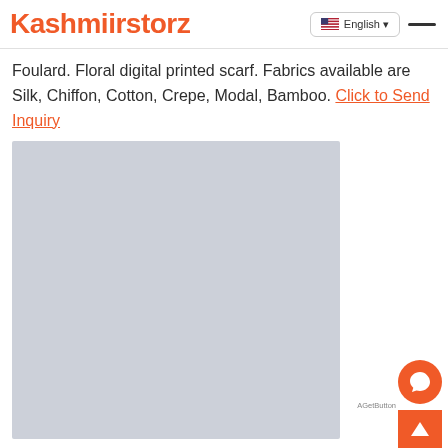Kashmiirstorz | English
Foulard. Floral digital printed scarf. Fabrics available are Silk, Chiffon, Cotton, Crepe, Modal, Bamboo. Click to Send Inquiry
[Figure (photo): A large placeholder image area with light blue-gray background, representing a product photo of a floral digital printed scarf.]